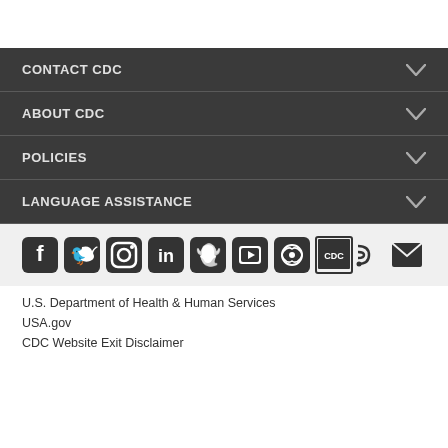CONTACT CDC
ABOUT CDC
POLICIES
LANGUAGE ASSISTANCE
[Figure (infographic): Social media icons row: Facebook, Twitter, Instagram, LinkedIn, Snapchat, YouTube, CDC TV/streaming, CDC logo on monitor, RSS feed, Email]
U.S. Department of Health & Human Services
USA.gov
CDC Website Exit Disclaimer